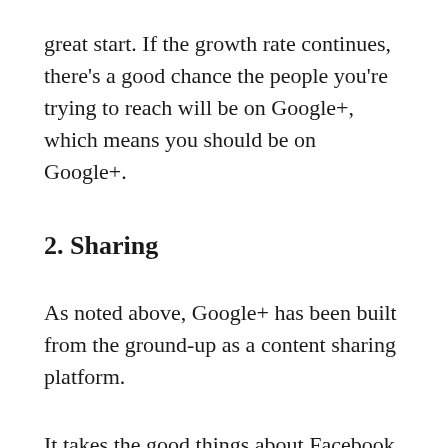great start. If the growth rate continues, there's a good chance the people you're trying to reach will be on Google+, which means you should be on Google+.
2. Sharing
As noted above, Google+ has been built from the ground-up as a content sharing platform.
It takes the good things about Facebook and Twitter and makes them better. More importantly, Google had the luxury of watching what Facebook and Twitter did